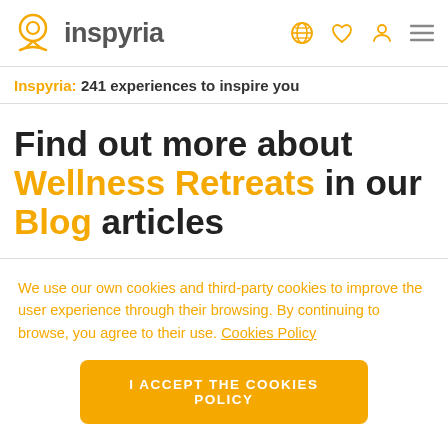inspyria
Inspyria: 241 experiences to inspire you
Find out more about Wellness Retreats in our Blog articles
We use our own cookies and third-party cookies to improve the user experience through their browsing. By continuing to browse, you agree to their use. Cookies Policy
I ACCEPT THE COOKIES POLICY